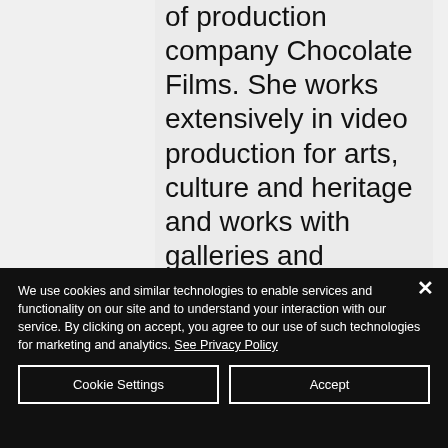of production company Chocolate Films. She works extensively in video production for arts, culture and heritage and works with galleries and museums across the UK, Europe and the Middle East to produce exhibition AV, documentaries and promotional content. Rachel is passionate
We use cookies and similar technologies to enable services and functionality on our site and to understand your interaction with our service. By clicking on accept, you agree to our use of such technologies for marketing and analytics. See Privacy Policy
Cookie Settings
Accept